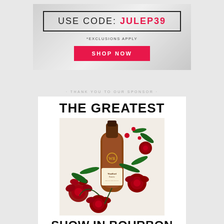USE CODE: JULEP39
*EXCLUSIONS APPLY
SHOP NOW
THANK YOU TO OUR SPONSOR
THE GREATEST
[Figure (photo): Woodford Reserve bourbon bottle surrounded by red roses on a light background]
SHOW IN BOURBON
[Figure (logo): Woodford Reserve logo with WR monogram circle and tagline 'A Spectacle for the Senses']